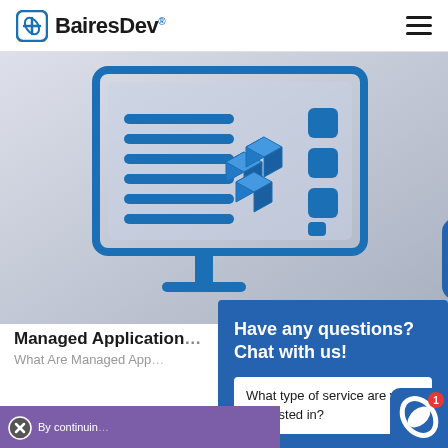BairesDev
[Figure (illustration): A blue line-art style illustration of a computer monitor displaying a dashboard with list items, 3D cube icons, and bar chart-like squares on a gray gradient background]
Managed Application
What Are Managed App
[Figure (screenshot): Chat popup overlay with BairesDev branding showing 'Have any questions? Chat with us!' and 'What type of service are you interested in?' with BairesDev logo icons]
By continuin
What type of service are you interested in?